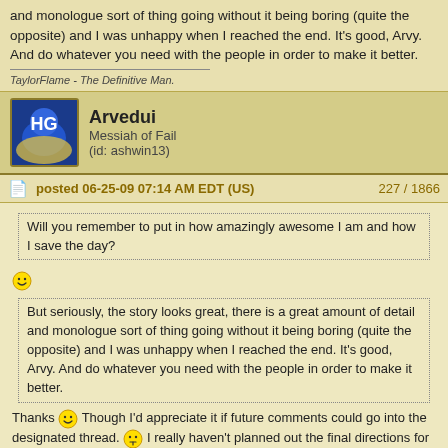and monologue sort of thing going without it being boring (quite the opposite) and I was unhappy when I reached the end. It's good, Arvy. And do whatever you need with the people in order to make it better.
TaylorFlame - The Definitive Man.
Arvedui
Messiah of Fail
(id: ashwin13)
posted 06-25-09 07:14 AM EDT (US)    227 / 1866
Will you remember to put in how amazingly awesome I am and how I save the day?
But seriously, the story looks great, there is a great amount of detail and monologue sort of thing going without it being boring (quite the opposite) and I was unhappy when I reached the end. It's good, Arvy. And do whatever you need with the people in order to make it better.
Thanks :) Though I'd appreciate it if future comments could go into the designated thread. :P I really haven't planned out the final directions for each character yet. I think in the next or third update I'll explain to the reader everyone's personality from my own point of view, and then go from there and see where everyone's personality happens to lead them.